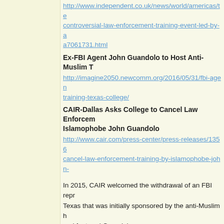http://www.independent.co.uk/news/world/americas/te...controversial-law-enforcement-training-event-led-by-a...a7061731.html
Ex-FBI Agent John Guandolo to Host Anti-Muslim T...
http://imagine2050.newcomm.org/2016/05/31/fbi-agen...training-texas-college/
CAIR-Dallas Asks College to Cancel Law Enforcement Training by Islamophobe John Guandolo
http://www.cair.com/press-center/press-releases/13562...cancel-law-enforcement-training-by-islamophobe-john-...
In 2015, CAIR welcomed the withdrawal of an FBI repr... Texas that was initially sponsored by the anti-Muslim h... and featured Guandolo.
SEE: FBI Withdraws from Texas Event Initially Spo... Featuring Anti-Muslim Conspiracy Theorist
http://www.cair.com/press-center/press-releases/1283...event-sponsored-by-hate-group.html